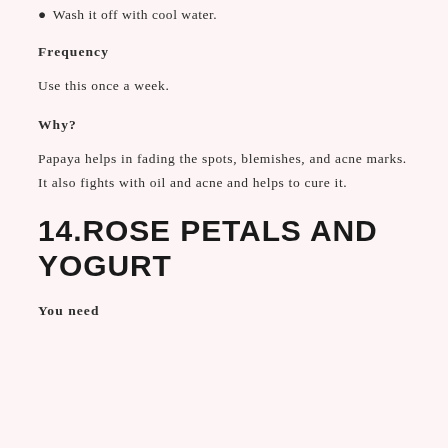Wash it off with cool water.
Frequency
Use this once a week.
Why?
Papaya helps in fading the spots, blemishes, and acne marks. It also fights with oil and acne and helps to cure it.
14.ROSE PETALS AND YOGURT
You need